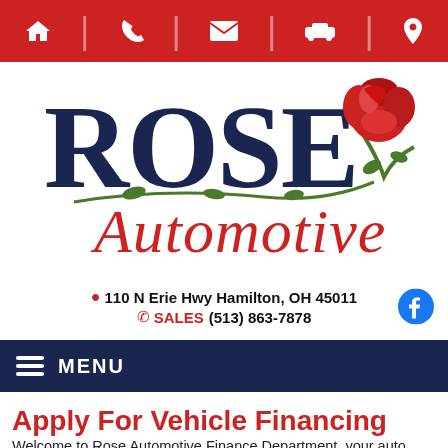[Figure (other): Red navigation bar with white icons: home, phone, envelope, car, location pin]
[Figure (logo): Rose Automotive logo with dark navy serif text ROSE and cursive red Automotive text, with a red rose illustration]
110 N Erie Hwy Hamilton, OH 45011  SALES (513) 863-7878
[Figure (other): Dark navy menu bar with hamburger icon and MENU text]
Apply For Vehicle Financing
Welcome to Rose Automotive Finance Department, your auto loan